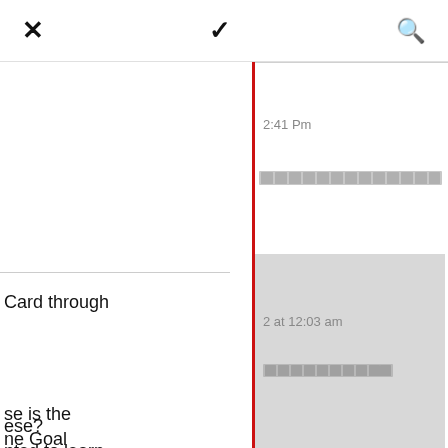[Figure (screenshot): Mobile app UI screenshot showing a navigation bar with X (close), chevron (dropdown), and search icons at the top.]
2:41 Pm
[Figure (other): Row of Chinese characters rendered as a grey text bar]
2 at 12:03 am
[Figure (other): Row of Chinese characters rendered as a grey text bar in the grey box]
Card through
se is the
ne Goal
n Chinese?
g further
ese?
nted to learn